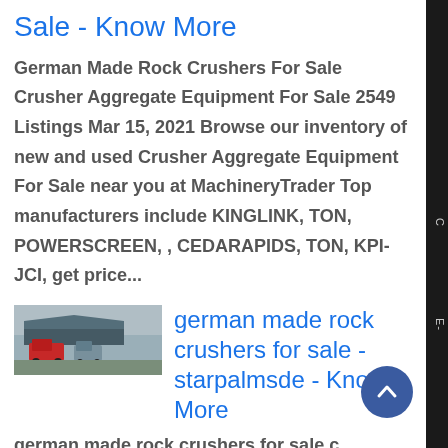Sale - Know More
German Made Rock Crushers For Sale Crusher Aggregate Equipment For Sale 2549 Listings Mar 15, 2021 Browse our inventory of new and used Crusher Aggregate Equipment For Sale near you at MachineryTrader Top manufacturers include KINGLINK, TON, POWERSCREEN, , CEDARAPIDS, TON, KPI-JCI, get price...
[Figure (photo): Thumbnail photo of rock crushers / heavy machinery trucks in a yard]
german made rock crushers for sale - starpalmsde - Know More
german made rock crushers for sale c a Price Used Rock Crushers For Sale In